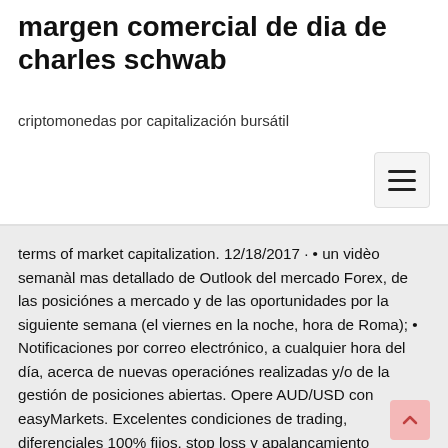margen comercial de dia de charles schwab
criptomonedas por capitalización bursátil
terms of market capitalization. 12/18/2017 · • un vidèo semanàl mas detallado de Outlook del mercado Forex, de las posiciónes a mercado y de las oportunidades por la siguiente semana (el viernes en la noche, hora de Roma); • Notificaciones por correo electrónico, a cualquier hora del día, acerca de nuevas operaciónes realizadas y/o de la gestión de posiciones abiertas. Opere AUD/USD con easyMarkets. Excelentes condiciones de trading, diferenciales 100% fijos, stop loss y apalancamiento Comience a operar ahora. Aprovechando la reciente inestabilidad del USD, provocada por los débiles datos de empleo del viernes, localizamos una potencial oportunidad en el AUDUSD, que está dibujando un posible doji en un nivel de Fibonacci interesante.